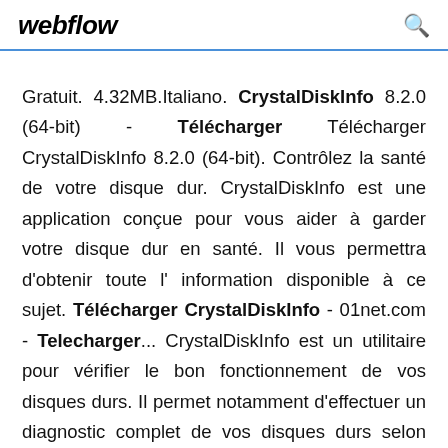webflow
Gratuit. 4.32MB.Italiano. CrystalDiskInfo 8.2.0 (64-bit) - Télécharger Télécharger CrystalDiskInfo 8.2.0 (64-bit). Contrôlez la santé de votre disque dur. CrystalDiskInfo est une application conçue pour vous aider à garder votre disque dur en santé. Il vous permettra d'obtenir toute l' information disponible à ce sujet. Télécharger CrystalDiskInfo - 01net.com - Telecharger... CrystalDiskInfo est un utilitaire pour vérifier le bon fonctionnement de vos disques durs. Il permet notamment d'effectuer un diagnostic complet de vos disques durs selon différents crit...CrystalDiskInfo. Auteur/ éditeur : Crystal Dew World. Présentation Telecharger.com. Télécharger CrystalDiskInfo